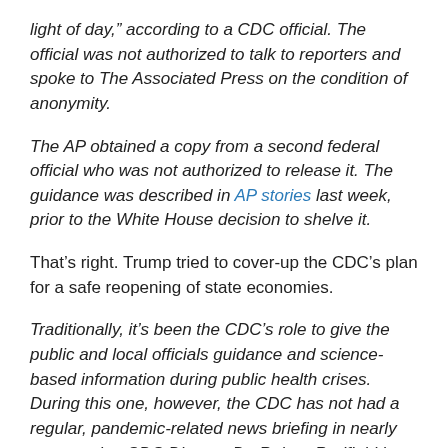light of day," according to a CDC official. The official was not authorized to talk to reporters and spoke to The Associated Press on the condition of anonymity.
The AP obtained a copy from a second federal official who was not authorized to release it. The guidance was described in AP stories last week, prior to the White House decision to shelve it.
That’s right. Trump tried to cover-up the CDC’s plan for a safe reopening of state economies.
Traditionally, it’s been the CDC’s role to give the public and local officials guidance and science-based information during public health crises. During this one, however, the CDC has not had a regular, pandemic-related news briefing in nearly two months. CDC Director Dr. Robert Redfield has been a member of the White House...